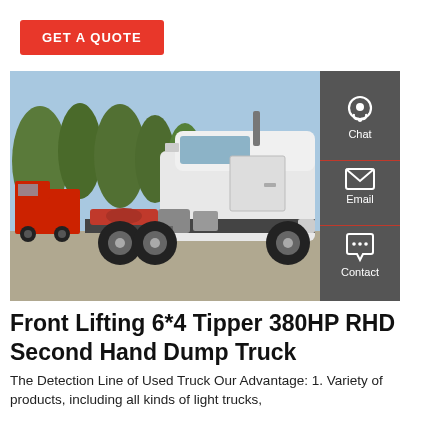GET A QUOTE
[Figure (photo): Side view of a white semi-truck / tractor unit parked in a yard with trees in background; a red truck is partially visible on the left. Sidebar with Chat, Email, Contact icons overlaid on right.]
Front Lifting 6*4 Tipper 380HP RHD Second Hand Dump Truck
The Detection Line of Used Truck Our Advantage: 1. Variety of products, including all kinds of light trucks,